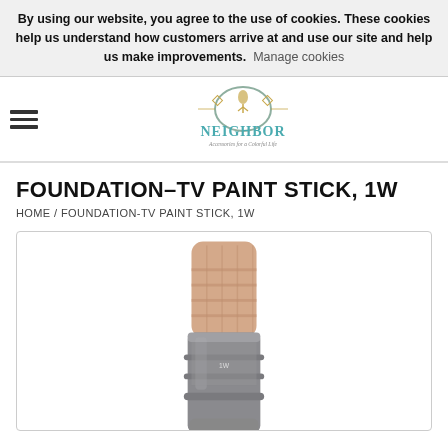By using our website, you agree to the use of cookies. These cookies help us understand how customers arrive at and use our site and help us make improvements. Manage cookies
[Figure (logo): Neighbor accessories store logo with teal decorative border and text 'NEIGHBOR Accessories for a Colorful Life']
FOUNDATION-TV PAINT STICK, 1W
HOME / FOUNDATION-TV PAINT STICK, 1W
[Figure (photo): Close-up photo of a TV Foundation Paint Stick makeup product in shade 1W, showing the peach/skin-tone makeup stick extended from a silver metallic container/tube]